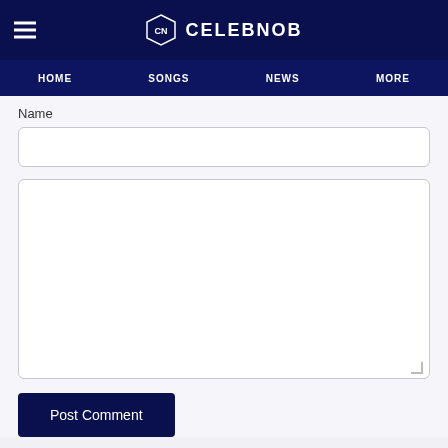CELEBNOB
HOME  SONGS  NEWS  MORE
Name
[Figure (screenshot): Empty name input field, white rounded rectangle]
[Figure (screenshot): Empty comment textarea, white rounded rectangle]
Post Comment